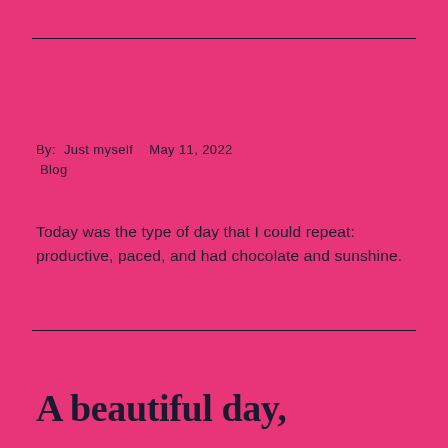By:  Just myself    May 11, 2022
 Blog
Today was the type of day that I could repeat: productive, paced, and had chocolate and sunshine.
A beautiful day,